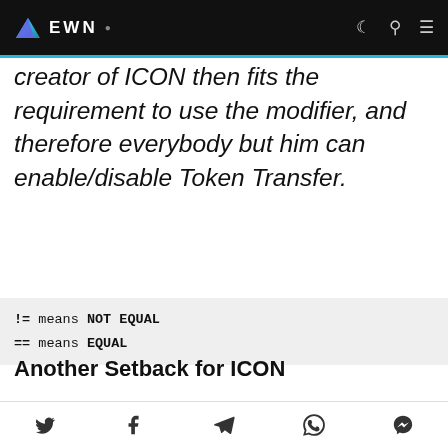EWN
creator of ICON then fits the requirement to use the modifier, and therefore everybody but him can enable/disable Token Transfer.
!= means NOT EQUAL
== means EQUAL
Another Setback for ICON
The creator of the...
Social share icons: Twitter, Facebook, Telegram, WhatsApp, Messenger